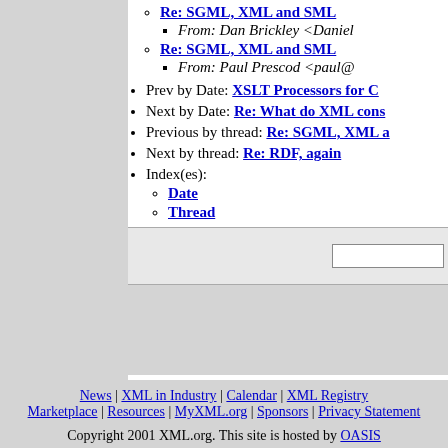Re: SGML, XML and SML
From: Dan Brickley <Daniel...
Re: SGML, XML and SML
From: Paul Prescod <paul@...
Prev by Date: XSLT Processors for C...
Next by Date: Re: What do XML cons...
Previous by thread: Re: SGML, XML a...
Next by thread: Re: RDF, again
Index(es):
Date
Thread
News | XML in Industry | Calendar | XML Registry | Marketplace | Resources | MyXML.org | Sponsors | Privacy Statement
Copyright 2001 XML.org. This site is hosted by OASIS